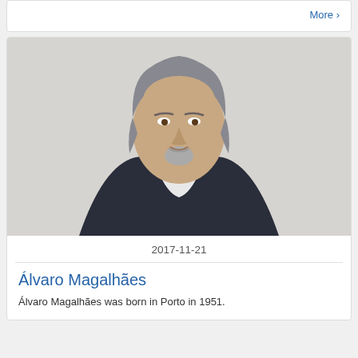More >
[Figure (photo): Portrait photo of Álvaro Magalhães, an older man with grey hair and beard, wearing a dark blazer over a light shirt, against a light grey background.]
2017-11-21
Álvaro Magalhães
Álvaro Magalhães was born in Porto in 1951.